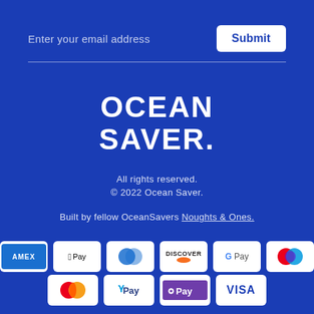Enter your email address
Submit
OCEAN SAVER
All rights reserved.
© 2022 Ocean Saver.
Built by fellow OceanSavers Noughts & Ones.
[Figure (logo): Payment method icons: AMEX, Apple Pay, Diners Club, Discover, Google Pay, Mastercard, Mastercard (red/blue), PayPal, OPay, Visa]